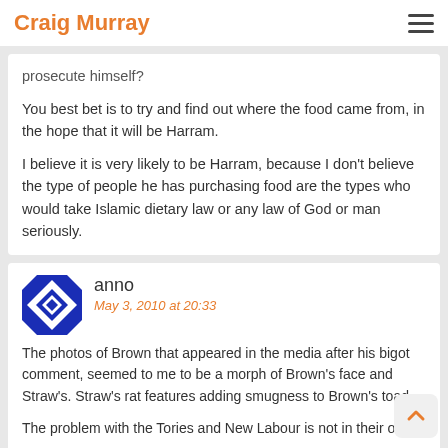Craig Murray
prosecute himself?
You best bet is to try and find out where the food came from, in the hope that it will be Harram.
I believe it is very likely to be Harram, because I don't believe the type of people he has purchasing food are the types who would take Islamic dietary law or any law of God or man seriously.
anno
May 3, 2010 at 20:33
[Figure (illustration): Blue and white decorative avatar icon with geometric diamond/cross pattern]
The photos of Brown that appeared in the media after his bigot comment, seemed to me to be a morph of Brown's face and Straw's. Straw's rat features adding smugness to Brown's toad.
The problem with the Tories and New Labour is not in their own